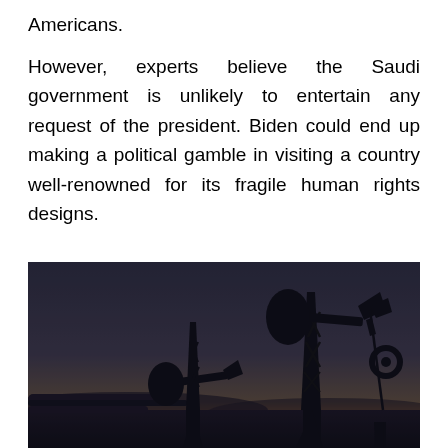Americans.
However, experts believe the Saudi government is unlikely to entertain any request of the president. Biden could end up making a political gamble in visiting a country well-renowned for its fragile human rights designs.
[Figure (photo): Silhouette of oil pump jacks against a sunset sky, with pipelines in the foreground. Dark, moody industrial scene.]